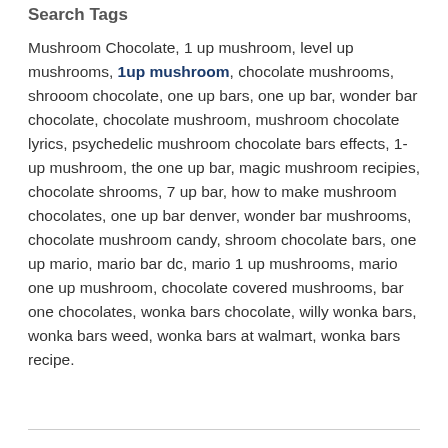Search Tags
Mushroom Chocolate, 1 up mushroom, level up mushrooms, 1up mushroom, chocolate mushrooms, shrooom chocolate, one up bars, one up bar, wonder bar chocolate, chocolate mushroom, mushroom chocolate lyrics, psychedelic mushroom chocolate bars effects, 1-up mushroom, the one up bar, magic mushroom recipies, chocolate shrooms, 7 up bar, how to make mushroom chocolates, one up bar denver, wonder bar mushrooms, chocolate mushroom candy, shroom chocolate bars, one up mario, mario bar dc, mario 1 up mushrooms, mario one up mushroom, chocolate covered mushrooms, bar one chocolates, wonka bars chocolate, willy wonka bars, wonka bars weed, wonka bars at walmart, wonka bars recipe.